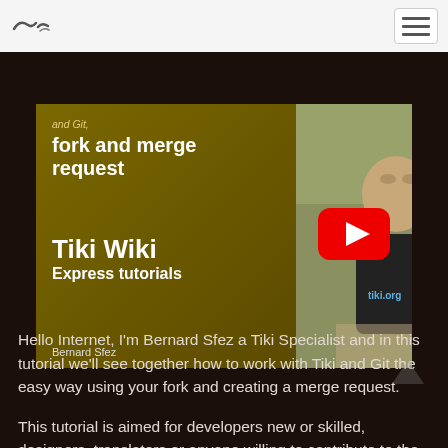Tiki Wiki Express tutorials navigation bar
[Figure (screenshot): YouTube video thumbnail for 'Tiki and Git, fork and merge request' by Bernard Sfez. Left half shows dark olive/gold background with white text: 'and Git, fork and merge request', 'Tiki Wiki', 'Express tutorials', 'Bernard Sfez'. Right half shows a man in a Tiki.org t-shirt sitting outdoors, smiling. A red YouTube play button is centered over the right panel. A YouTube info bar is visible at the top of the right panel.]
Hello Internet, I'm Bernard Sfez a Tiki Specialist and in this tutorial we'll see together how to work with Tiki and Git the easy way using your fork and creating a merge request.
This tutorial is aimed for developers new or skilled, designers, translators or anyone willing to contribute to the Tiki project